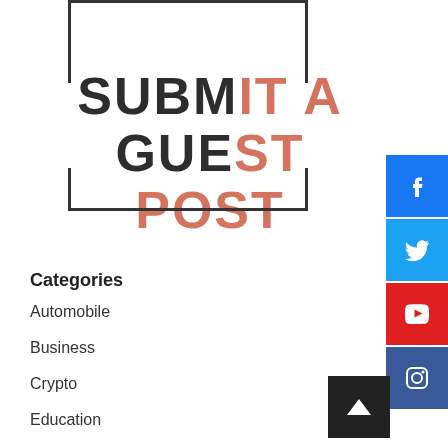[Figure (logo): Submit a Guest Post logo with bracket frame and two-tone text (dark and coral colors)]
Categories
Automobile
Business
Crypto
Education